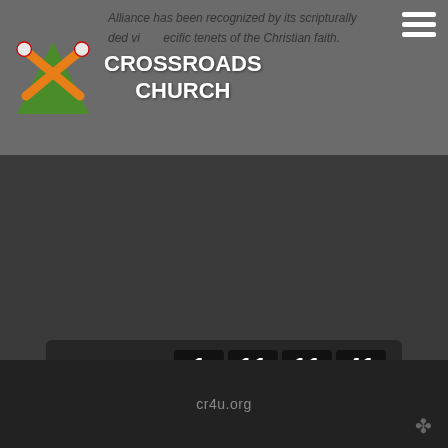CROSSROADS CHURCH
Alliance has been recognized by its scripturally grounded views on specific tenets of the Christian faith.
[Figure (screenshot): Live countdown timer showing: LIVE IN: 1 DAYS 11 HRS 11 MIN 41 SEC]
Crossroads Church    2810 1st Ave, Perry, IA  50220    515-465-5478
cr4u.org